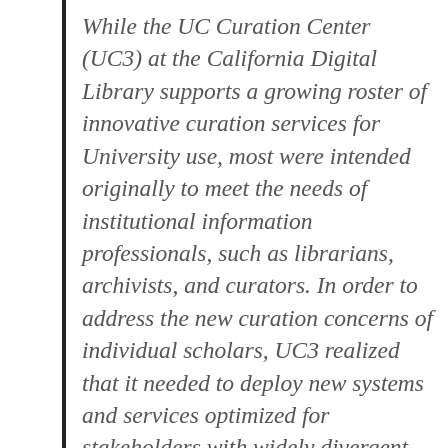While the UC Curation Center (UC3) at the California Digital Library supports a growing roster of innovative curation services for University use, most were intended originally to meet the needs of institutional information professionals, such as librarians, archivists, and curators. In order to address the new curation concerns of individual scholars, UC3 realized that it needed to deploy new systems and services optimized for stakeholders with widely divergent experiences, expertise, and expectations. This led to the development of Dash, an online data publication service making